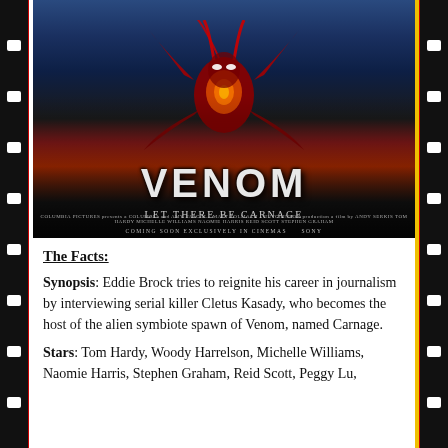[Figure (photo): Movie poster for Venom: Let There Be Carnage showing the red symbiote Carnage figure with characters in the background, large VENOM title text, subtitle 'LET THERE BE CARNAGE', credits, and 'COMING SOON EXCLUSIVELY IN CINEMAS' banner with Sony logo]
The Facts:
Synopsis: Eddie Brock tries to reignite his career in journalism by interviewing serial killer Cletus Kasady, who becomes the host of the alien symbiote spawn of Venom, named Carnage.
Stars: Tom Hardy, Woody Harrelson, Michelle Williams, Naomie Harris, Stephen Graham, Reid Scott, Peggy Lu,...